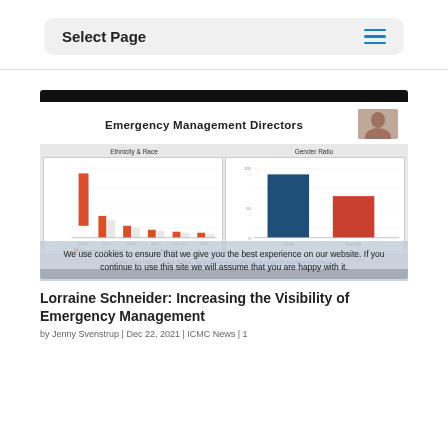Select Page
[Figure (screenshot): Screenshot of a presentation slide titled 'Emergency Management Directors' showing two charts: 'Ethnicity & Race' (horizontal bar chart with orange and grey bars) and 'Gender Ratio' (bar chart with large dark blue bar and smaller red bar). A speaker thumbnail is visible top-right. Source: Data USA // Census Bureau.]
We use cookies to ensure that we give you the best experience on our website. If you continue to use this site we will assume that you are happy with it.
Lorraine Schneider: Increasing the Visibility of Emergency Management
by Jenny Svenstrup | Dec 22, 2021 | ICMC News | 1